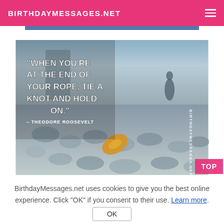BIRTHDAYMESSAGES.NET
[Figure (photo): A photo of a rocky beach with a fallen leaf and a blurred silhouette of a person in the background. Overlaid text reads: "WHEN YOU'RE AT THE END OF YOUR ROPE, TIE A KNOT AND HOLD ON." – THEODORE ROOSEVELT, with BIRTHDAYMESSAGES.NET watermark on the right side.]
BirthdayMessages.net uses cookies to give you the best online experience. Click "OK" if you consent to their use. Learn more.